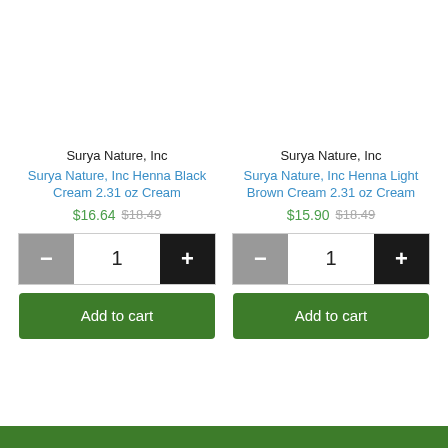Surya Nature, Inc
Surya Nature, Inc Henna Black Cream 2.31 oz Cream
$16.64 $18.49
Surya Nature, Inc
Surya Nature, Inc Henna Light Brown Cream 2.31 oz Cream
$15.90 $18.49